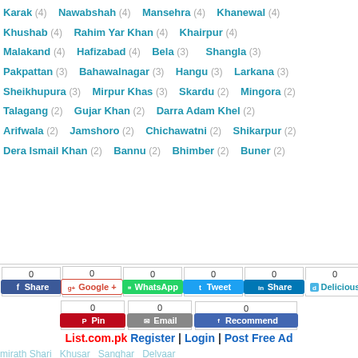Karak (4)  Nawabshah (4)  Mansehra (4)  Khanewal (4)
Khushab (4)  Rahim Yar Khan (4)  Khairpur (4)
Malakand (4)  Hafizabad (4)  Bela (3)  Shangla (3)
Pakpattan (3)  Bahawalnagar (3)  Hangu (3)  Larkana (3)
Sheikhupura (3)  Mirpur Khas (3)  Skardu (2)  Mingora (2)
Talagang (2)  Gujar Khan (2)  Darra Adam Khel (2)
Arifwala (2)  Jamshoro (2)  Chichawatni (2)  Shikarpur (2)
Dera Ismail Khan (2)  Bannu (2)  Bhimber (2)  Buner (2)
Close x
0 Share  0 Google +  0 WhatsApp  0 Tweet  0 Share  0 Delicious
0 Pin  0 Email  0 Recommend
List.com.pk Register | Login | Post Free Ad